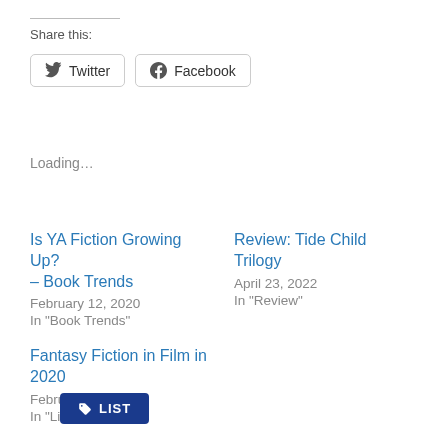Share this:
Twitter   Facebook
Loading…
Is YA Fiction Growing Up? – Book Trends
February 12, 2020
In "Book Trends"
Review: Tide Child Trilogy
April 23, 2022
In "Review"
Fantasy Fiction in Film in 2020
February 7, 2020
In "List"
LIST